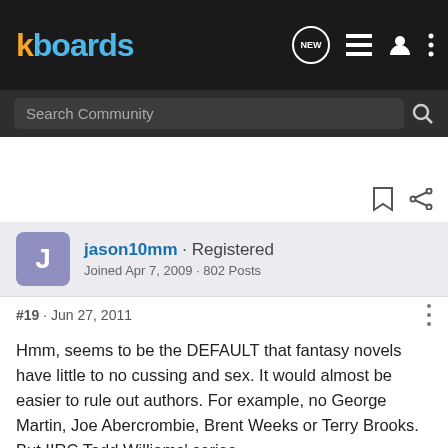kboards
Search Community
jason10mm · Registered
Joined Apr 7, 2009 · 802 Posts
#19 · Jun 27, 2011
Hmm, seems to be the DEFAULT that fantasy novels have little to no cussing and sex. It would almost be easier to rule out authors. For example, no George Martin, Joe Abercrombie, Brent Weeks or Terry Brooks. But IIRC Tadd Williams' series